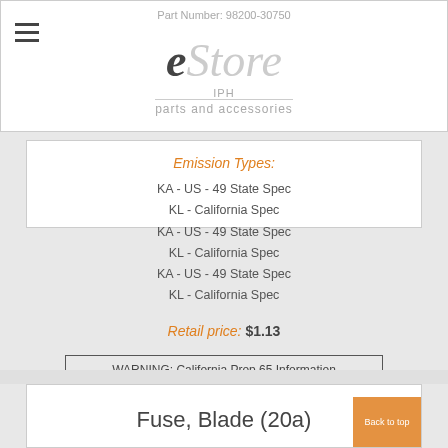Part Number: 98200-30750
[Figure (logo): eStore IPH parts and accessories logo]
Emission Types:
KA - US - 49 State Spec
KL - California Spec
KA - US - 49 State Spec
KL - California Spec
KA - US - 49 State Spec
KL - California Spec
Retail price: $1.13
WARNING: California Prop 65 Information
Fuse, Blade (20a)
Part Number: 98200-32000